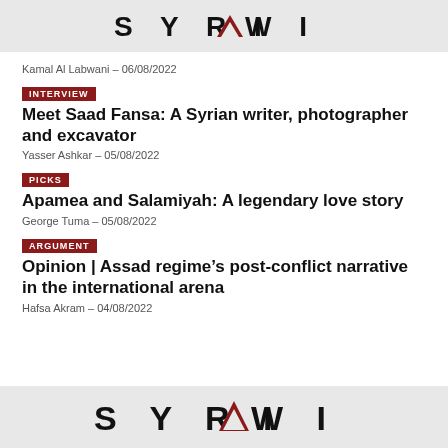SYRIAWISE
Kamal Al Labwani – 06/08/2022
INTERVIEW
Meet Saad Fansa: A Syrian writer, photographer and excavator
Yasser Ashkar – 05/08/2022
PICKS
Apamea and Salamiyah: A legendary love story
George Tuma – 05/08/2022
ARGUMENT
Opinion | Assad regime's post-conflict narrative in the international arena
Hafsa Akram – 04/08/2022
SYRIAWISE